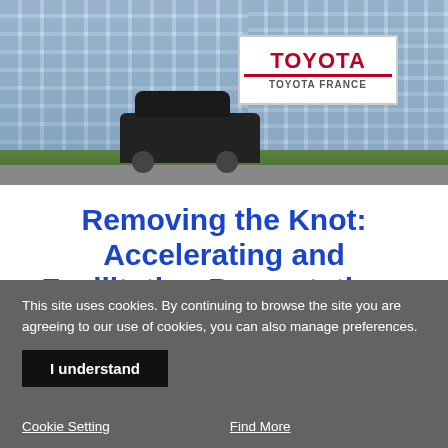[Figure (photo): Exterior photo of Toyota France headquarters building with Toyota France signage, cars in parking lot, and greenery in foreground]
Removing the Knot: Accelerating and Facilitating Presentations at Toyota France
This site uses cookies. By continuing to browse the site you are agreeing to our use of cookies, you can also manage preferences.
I understand
Cookie Setting
Find More